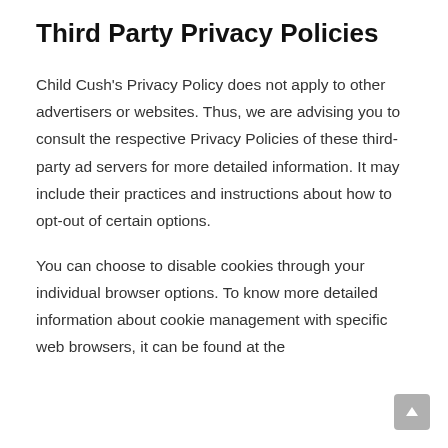Third Party Privacy Policies
Child Cush's Privacy Policy does not apply to other advertisers or websites. Thus, we are advising you to consult the respective Privacy Policies of these third-party ad servers for more detailed information. It may include their practices and instructions about how to opt-out of certain options.
You can choose to disable cookies through your individual browser options. To know more detailed information about cookie management with specific web browsers, it can be found at the